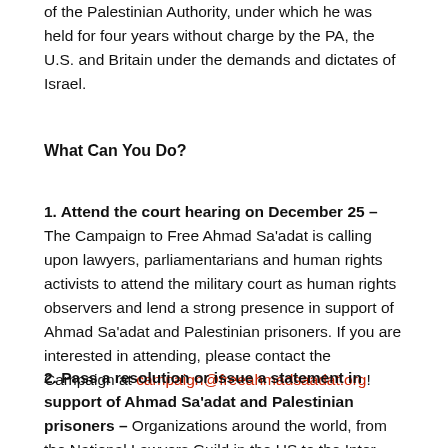of the Palestinian Authority, under which he was held for four years without charge by the PA, the U.S. and Britain under the demands and dictates of Israel.
What Can You Do?
1. Attend the court hearing on December 25 – The Campaign to Free Ahmad Sa'adat is calling upon lawyers, parliamentarians and human rights activists to attend the military court as human rights observers and lend a strong presence in support of Ahmad Sa'adat and Palestinian prisoners. If you are interested in attending, please contact the Campaign at campaign@freeahmadsaadat.org!
2. Pass a resolution or issue a statement in support of Ahmad Sa'adat and Palestinian prisoners – Organizations around the world, from the National Lawyers Guild in the US to the Inter-Parliamentarian Union to dozens of Palestinian